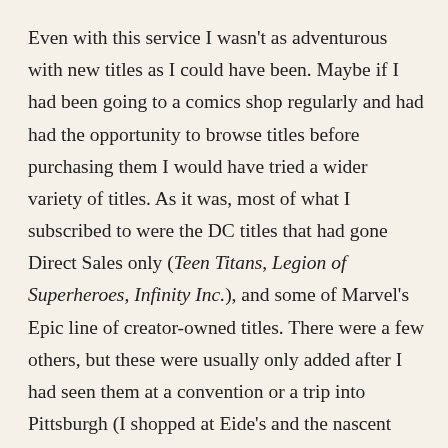Even with this service I wasn't as adventurous with new titles as I could have been. Maybe if I had been going to a comics shop regularly and had had the opportunity to browse titles before purchasing them I would have tried a wider variety of titles. As it was, most of what I subscribed to were the DC titles that had gone Direct Sales only (Teen Titans, Legion of Superheroes, Infinity Inc.), and some of Marvel's Epic line of creator-owned titles. There were a few others, but these were usually only added after I had seen them at a convention or a trip into Pittsburgh (I shopped at Eide's and the nascent Phantom of the Attic whenever I made the trip).